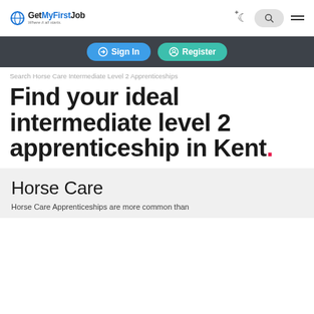GetMyFirstJob — Where it all starts.
Sign In | Register
Search Horse Care Intermediate Level 2 Apprenticeships
Find your ideal intermediate level 2 apprenticeship in Kent.
Horse Care
Horse Care Apprenticeships are more common than